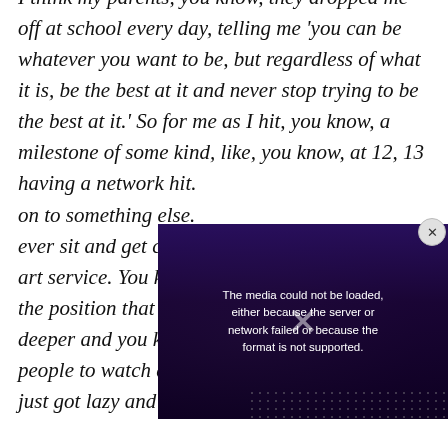I think my parents, you know, they dropped me off at school every day, telling me 'you can be whatever you want to be, but regardless of what it is, be the best at it and never stop trying to be the best at it.' So for me as I hit, you know, a milestone of some kind, like, you know, at 12, 13 having a network hit. on to something else. ever sit and get comp art service. You know, the position that I'm in. If I don't keep going deeper and you know, crafting great stories for people to watch and deepening my craft, then I just got lazy and I can't do that."
[Figure (screenshot): Video player overlay showing an error message: 'The media could not be loaded, either because the server or network failed or because the format is not supported.' with a close button and X mark overlay on a dark purple background with a person partially visible.]